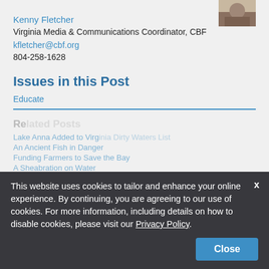[Figure (photo): Small thumbnail photo of a person outdoors, top right corner]
Kenny Fletcher
Virginia Media & Communications Coordinator, CBF
kfletcher@cbf.org
804-258-1628
Issues in this Post
Educate
Related Posts (partially visible, obscured by cookie banner): Lake Anna Added to Virginia Dirty Waters List, An Ancient Fish in Danger, Funding Farmers to Save the Bay, A Sheabration on Water
This website uses cookies to tailor and enhance your online experience. By continuing, you are agreeing to our use of cookies. For more information, including details on how to disable cookies, please visit our Privacy Policy.